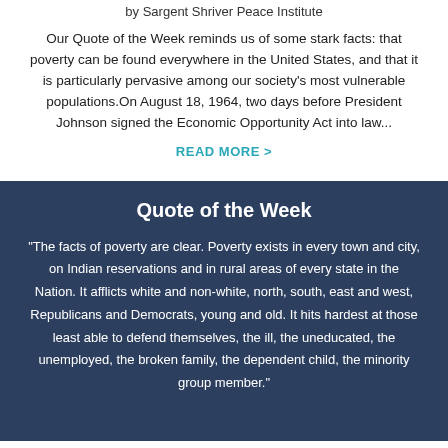by Sargent Shriver Peace Institute
Our Quote of the Week reminds us of some stark facts: that poverty can be found everywhere in the United States, and that it is particularly pervasive among our society's most vulnerable populations.On August 18, 1964, two days before President Johnson signed the Economic Opportunity Act into law...
READ MORE >
Quote of the Week
"The facts of poverty are clear. Poverty exists in every town and city, on Indian reservations and in rural areas of every state in the Nation. It afflicts white and non-white, north, south, east and west, Republicans and Democrats, young and old. It hits hardest at those least able to defend themselves, the ill, the uneducated, the unemployed, the broken family, the dependent child, the minority group member."